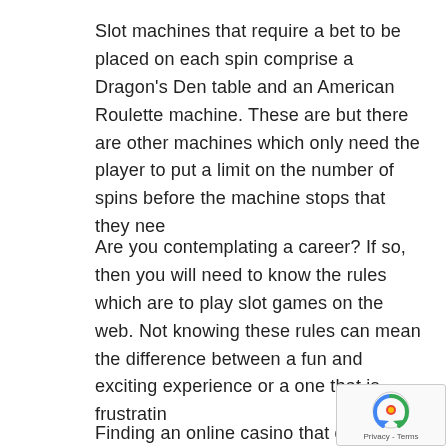Slot machines that require a bet to be placed on each spin comprise a Dragon's Den table and an American Roulette machine. These are but there are other machines which only need the player to put a limit on the number of spins before the machine stops that they nee
Are you contemplating a career? If so, then you will need to know the rules which are to play slot games on the web. Not knowing these rules can mean the difference between a fun and exciting experience or a one that is frustratin
Finding an online casino that delivers...